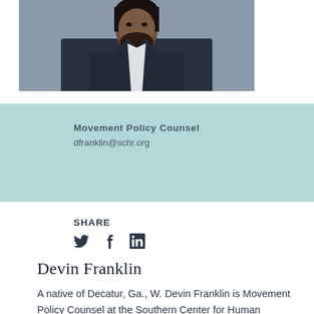[Figure (photo): Portrait photo of Devin Franklin, a man wearing a dark suit and red tie, shown from shoulders up, cropped at the top of the page.]
Movement Policy Counsel
dfranklin@schr.org
SHARE
Social share icons: Twitter, Facebook, LinkedIn
Devin Franklin
A native of Decatur, Ga., W. Devin Franklin is Movement Policy Counsel at the Southern Center for Human Rights. He joined SCHR in March 2022 after working as a Senior Assistant Public